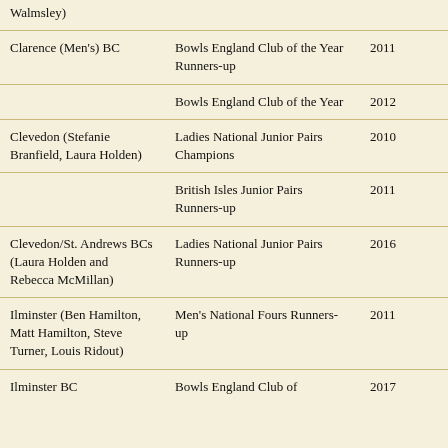| Club / Person | Achievement | Year |
| --- | --- | --- |
| Walmsley) |  |  |
| Clarence (Men's) BC | Bowls England Club of the Year Runners-up | 2011 |
|  | Bowls England Club of the Year | 2012 |
| Clevedon (Stefanie Branfield, Laura Holden) | Ladies National Junior Pairs Champions | 2010 |
|  | British Isles Junior Pairs Runners-up | 2011 |
| Clevedon/St. Andrews BCs (Laura Holden and Rebecca McMillan) | Ladies National Junior Pairs Runners-up | 2016 |
| Ilminster (Ben Hamilton, Matt Hamilton, Steve Turner, Louis Ridout) | Men's National Fours Runners-up | 2011 |
| Ilminster BC | Bowls England Club of | 2017 |